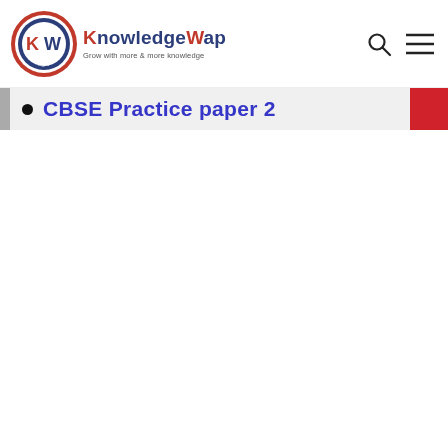[Figure (logo): KnowledgeWap logo — circular emblem with K W letters inside, red and dark blue coloring, with tagline 'Grow with more & more knowledge']
CBSE Practice paper 2